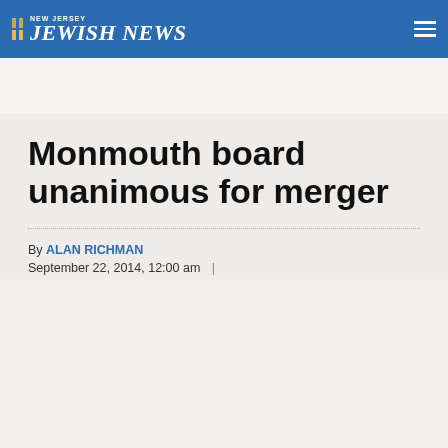NEW JERSEY JEWISH NEWS
Monmouth board unanimous for merger
By ALAN RICHMAN
September 22, 2014, 12:00 am  |